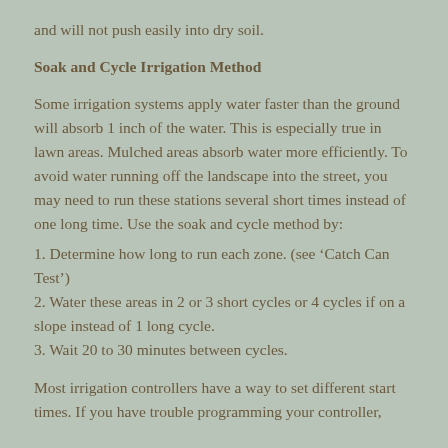and will not push easily into dry soil.
Soak and Cycle Irrigation Method
Some irrigation systems apply water faster than the ground will absorb 1 inch of the water. This is especially true in lawn areas. Mulched areas absorb water more efficiently. To avoid water running off the landscape into the street, you may need to run these stations several short times instead of one long time. Use the soak and cycle method by:
1. Determine how long to run each zone. (see ‘Catch Can Test’)
2. Water these areas in 2 or 3 short cycles or 4 cycles if on a slope instead of 1 long cycle.
3. Wait 20 to 30 minutes between cycles.
Most irrigation controllers have a way to set different start times. If you have trouble programming your controller,